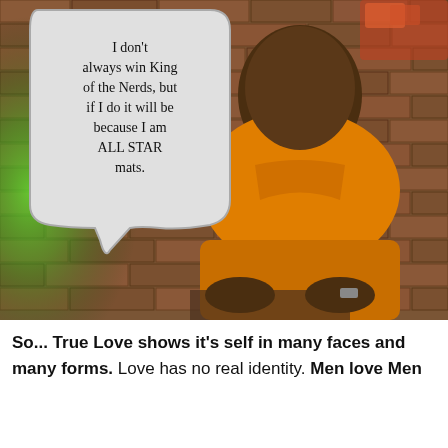[Figure (photo): A person wearing an orange polo shirt sitting in front of a brick wall with green lighting on the left side. A speech bubble overlaid on the image reads: 'I don't always win King of the Nerds, but if I do it will be because I am ALL STAR mats.']
So... True Love shows it's self in many faces and many forms. Love has no real identity. Men love Men